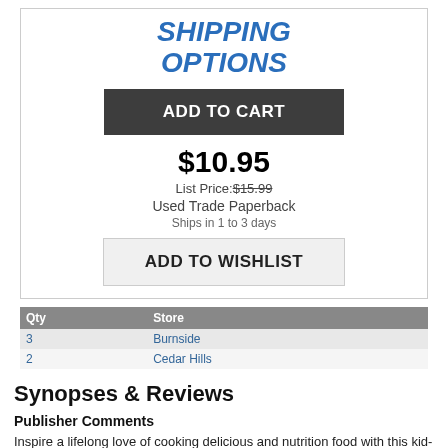SHIPPING OPTIONS
ADD TO CART
$10.95
List Price: $15.99
Used Trade Paperback
Ships in 1 to 3 days
ADD TO WISHLIST
| Qty | Store |
| --- | --- |
| 3 | Burnside |
| 2 | Cedar Hills |
Synopses & Reviews
Publisher Comments
Inspire a lifelong love of cooking delicious and nutrition food with this kid-friendly cookbook.